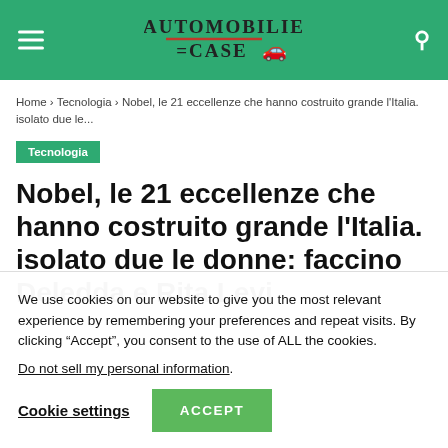AUTOMOBILIE CASE (logo with car icon)
Home › Tecnologia › Nobel, le 21 eccellenze che hanno costruito grande l'Italia. isolato due le...
Tecnologia
Nobel, le 21 eccellenze che hanno costruito grande l'Italia. isolato due le donne: faccino Deledda e Rita Levi
We use cookies on our website to give you the most relevant experience by remembering your preferences and repeat visits. By clicking "Accept", you consent to the use of ALL the cookies.
Do not sell my personal information.
Cookie settings  ACCEPT